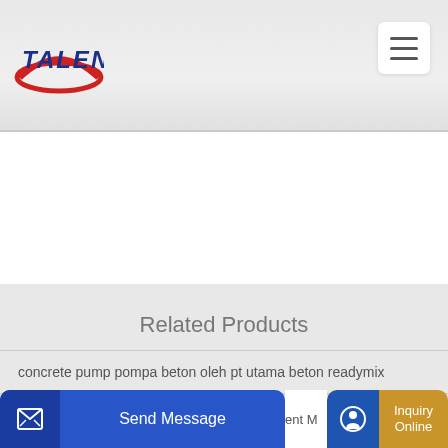[Figure (logo): Talenet company logo with red ellipse swoosh and blue italic bold text TALENET]
Related Products
concrete pump pompa beton oleh pt utama beton readymix
asphalt batch mix plant manufacturerasphalt drumming
Send Message
Inquiry Online